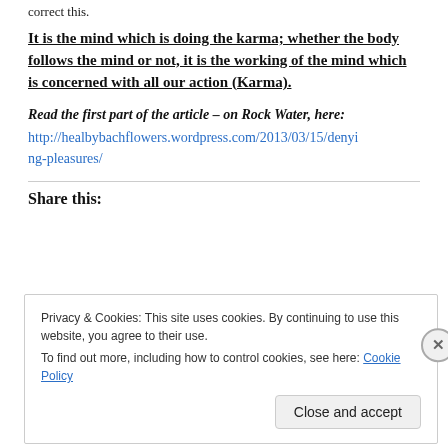correct this.
It is the mind which is doing the karma; whether the body follows the mind or not, it is the working of the mind which is concerned with all our action (Karma).
Read the first part of the article – on Rock Water, here: http://healbybachflowers.wordpress.com/2013/03/15/denying-pleasures/
Share this:
Privacy & Cookies: This site uses cookies. By continuing to use this website, you agree to their use. To find out more, including how to control cookies, see here: Cookie Policy